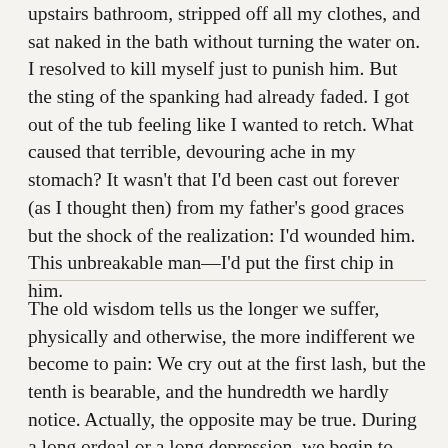upstairs bathroom, stripped off all my clothes, and sat naked in the bath without turning the water on. I resolved to kill myself just to punish him. But the sting of the spanking had already faded. I got out of the tub feeling like I wanted to retch. What caused that terrible, devouring ache in my stomach? It wasn't that I'd been cast out forever (as I thought then) from my father's good graces but the shock of the realization: I'd wounded him. This unbreakable man—I'd put the first chip in him.
The old wisdom tells us the longer we suffer, physically and otherwise, the more indifferent we become to pain: We cry out at the first lash, but the tenth is bearable, and the hundredth we hardly notice. Actually, the opposite may be true. During a long ordeal or a long depression, we begin to feel pain more acutely; we only learn to show it less. The stoic's creed, the stoic's prayer—what doesn't kill you makes you stronger: bear down and take it, you'll